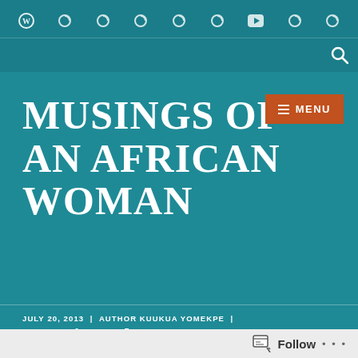[Figure (screenshot): Website navigation bar with WordPress icon and social media icons on teal background]
MUSINGS OF AN AFRICAN WOMAN
MENU
JULY 20, 2013  |  AUTHOR KUUKUA YOMEKPE  |  REFLECTIONS, REVIEWS, SOCIAL COMMENTARY
Americanah Part II
Follow ...